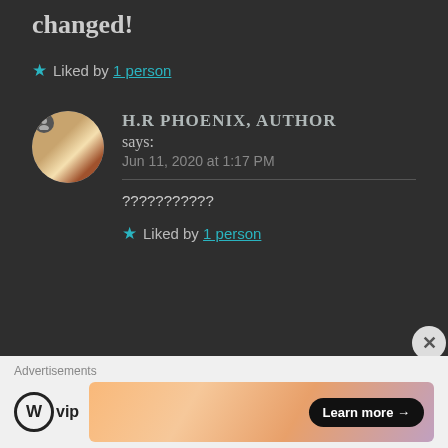changed!
★ Liked by 1 person
[Figure (photo): Circular avatar photo of a cat being held in a hand]
H.R PHOENIX, AUTHOR says: Jun 11, 2020 at 1:17 PM
???????????
★ Liked by 1 person
Advertisements
[Figure (logo): WordPress VIP logo — circle W icon followed by 'vip' text]
[Figure (illustration): WordPress VIP advertisement banner with gradient background and 'Learn more →' button]